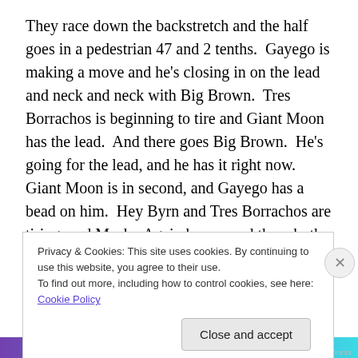They race down the backstretch and the half goes in a pedestrian 47 and 2 tenths.  Gayego is making a move and he's closing in on the lead and neck and neck with Big Brown.  Tres Borrachos is beginning to tire and Giant Moon has the lead.  And there goes Big Brown.  He's going for the lead, and he has it right now.  Giant Moon is in second, and Gayego has a bead on him.  Hey Byrn and Tres Borrachos are tiring, and Macho Again has passed them both.  Kentucky Bear makes his move and he's going to the outside of Macho Again.  Racecar Rhapsody is flying and has made a move to get into eighth.
Privacy & Cookies: This site uses cookies. By continuing to use this website, you agree to their use.
To find out more, including how to control cookies, see here: Cookie Policy